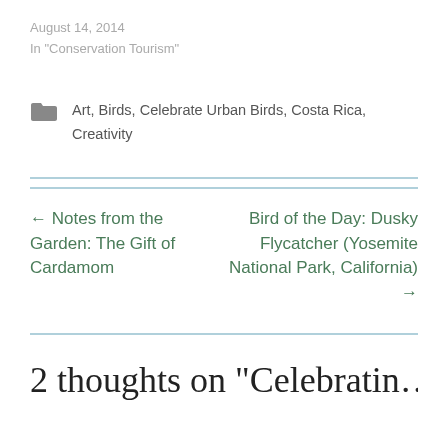August 14, 2014
In "Conservation Tourism"
Art, Birds, Celebrate Urban Birds, Costa Rica, Creativity
← Notes from the Garden: The Gift of Cardamom
Bird of the Day: Dusky Flycatcher (Yosemite National Park, California) →
2 thoughts on "Celebratin…